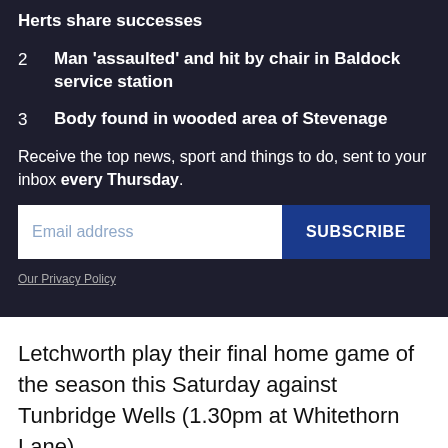Herts share successes
2  Man 'assaulted' and hit by chair in Baldock service station
3  Body found in wooded area of Stevenage
Receive the top news, sport and things to do, sent to your inbox every Thursday.
Email address
SUBSCRIBE
Our Privacy Policy
Letchworth play their final home game of the season this Saturday against Tunbridge Wells (1.30pm at Whitethorn Lane).